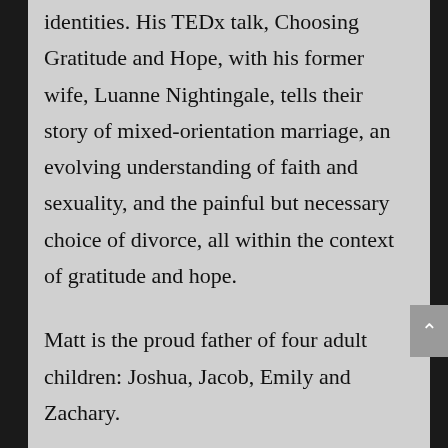identities. His TEDx talk, Choosing Gratitude and Hope, with his former wife, Luanne Nightingale, tells their story of mixed-orientation marriage, an evolving understanding of faith and sexuality, and the painful but necessary choice of divorce, all within the context of gratitude and hope.
Matt is the proud father of four adult children: Joshua, Jacob, Emily and Zachary.